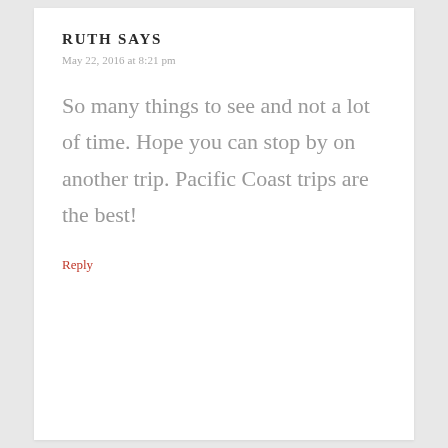RUTH SAYS
May 22, 2016 at 8:21 pm
So many things to see and not a lot of time. Hope you can stop by on another trip. Pacific Coast trips are the best!
Reply